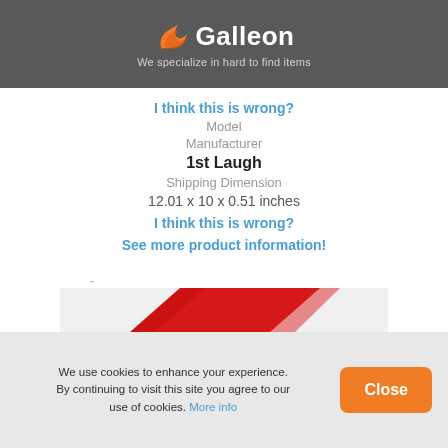Galleon — We specialize in hard to find items
I think this is wrong?
Model
Manufacturer
1st Laugh
Shipping Dimension
12.01 x 10 x 0.51 inches
I think this is wrong?
See more product information!
-
[Figure (screenshot): Partial view of a product image with red diagonal design element]
We use cookies to enhance your experience. By continuing to visit this site you agree to our use of cookies. More info